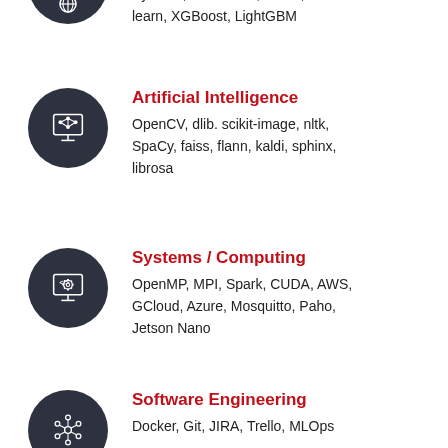PyTorch, Tensorflow, Keras, scikit-learn, XGBoost, LightGBM
[Figure (illustration): Dark circular icon with AI/computer symbol]
Artificial Intelligence
OpenCV, dlib. scikit-image, nltk, SpaCy, faiss, flann, kaldi, sphinx, librosa
[Figure (illustration): Dark circular icon with code/computing symbol]
Systems / Computing
OpenMP, MPI, Spark, CUDA, AWS, GCloud, Azure, Mosquitto, Paho, Jetson Nano
[Figure (illustration): Dark circular icon with network/software engineering symbol]
Software Engineering
Docker, Git, JIRA, Trello, MLOps